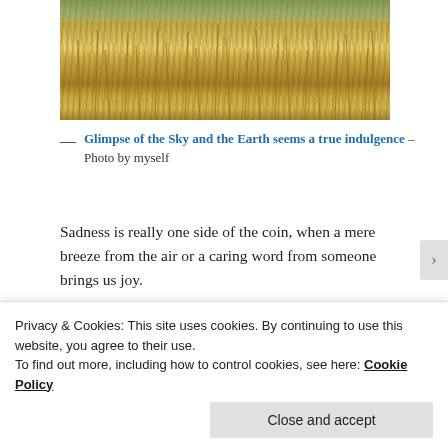[Figure (photo): Photograph of dry golden grass/wheat field with tall stalks, viewed from a low angle showing sky and earth]
— Glimpse of the Sky and the Earth seems a true indulgence – Photo by myself
Sadness is really one side of the coin, when a mere breeze from the air or a caring word from someone brings us joy.
Happiness heals the planet
the kind that makes you smile from the heart
Privacy & Cookies: This site uses cookies. By continuing to use this website, you agree to their use.
To find out more, including how to control cookies, see here: Cookie Policy